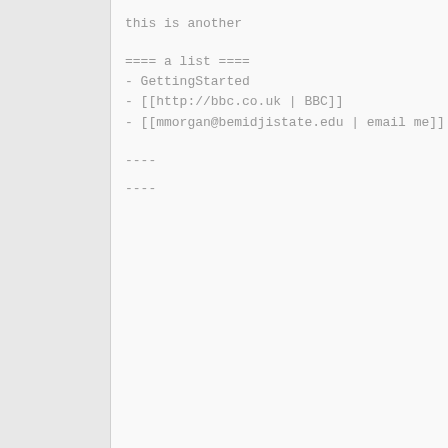this is another
==== a list ====
- GettingStarted
- [[http://bbc.co.uk | BBC]]
- [[mmorgan@bemidjistate.edu | email me]]
----
----